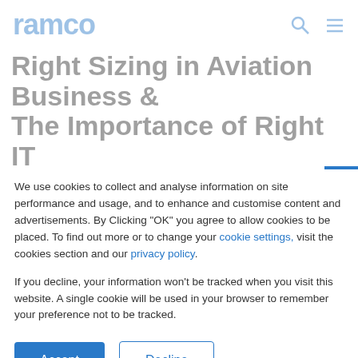ramco
Right Sizing in Aviation Business & The Importance of Right IT Solution - Part 2
We use cookies to collect and analyse information on site performance and usage, and to enhance and customise content and advertisements. By Clicking "OK" you agree to allow cookies to be placed. To find out more or to change your cookie settings, visit the cookies section and our privacy policy.
If you decline, your information won't be tracked when you visit this website. A single cookie will be used in your browser to remember your preference not to be tracked.
Accept  Decline